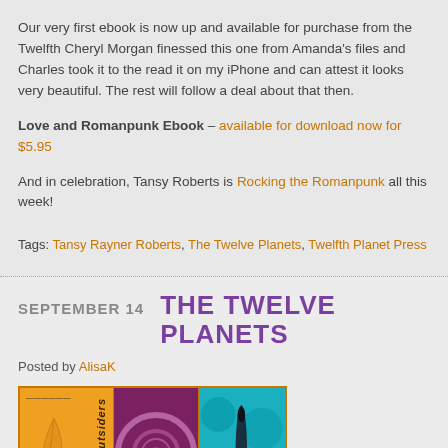Our very first ebook is now up and available for purchase from the Twelfth Cheryl Morgan finessed this one from Amanda's files and Charles took it to the read it on my iPhone and can attest it looks very beautiful. The rest will follow a deal about that then.
Love and Romanpunk Ebook – available for download now for $5.95
And in celebration, Tansy Roberts is Rocking the Romanpunk all this week!
Tags: Tansy Rayner Roberts, The Twelve Planets, Twelfth Planet Press
SEPTEMBER 14   THE TWELVE PLANETS
Posted by AlisaK
[Figure (photo): Three book covers side by side with orange border: an orange cover with 'outsiders' text, a purple/magenta cover with circular design, and a teal cover with a dark elongated object.]